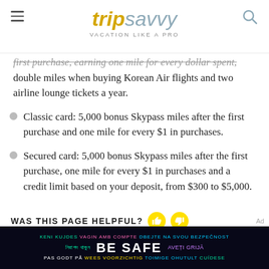tripsavvy VACATION LIKE A PRO
first purchase, earning one mile for every dollar spent, double miles when buying Korean Air flights and two airline lounge tickets a year.
Classic card: 5,000 bonus Skypass miles after the first purchase and one mile for every $1 in purchases.
Secured card: 5,000 bonus Skypass miles after the first purchase, one mile for every $1 in purchases and a credit limit based on your deposit, from $300 to $5,000.
WAS THIS PAGE HELPFUL?
[Figure (infographic): Safety banner advertisement with multilingual 'BE SAFE' message on dark background]